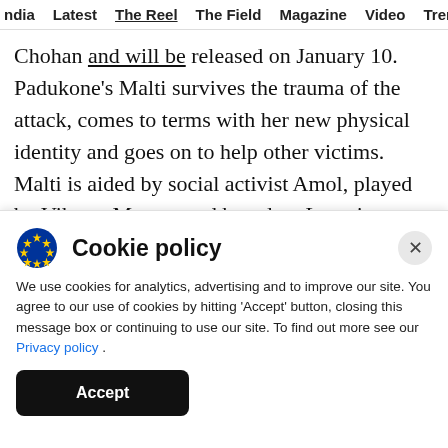ndia  Latest  The Reel  The Field  Magazine  Video  Trend
Chohan and will be released on January 10. Padukone's Malti survives the trauma of the attack, comes to terms with her new physical identity and goes on to help other victims. Malti is aided by social activist Amol, played by Vikrant Massey and based on Laxmi Agarwal's former partner Alok Dixit.
Cookie policy
We use cookies for analytics, advertising and to improve our site. You agree to our use of cookies by hitting 'Accept' button, closing this message box or continuing to use our site. To find out more see our Privacy policy .
Accept